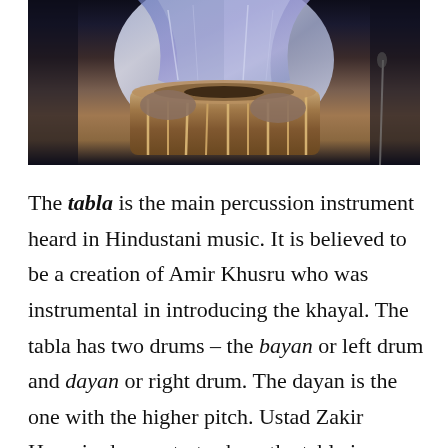[Figure (photo): A musician in a shimmering blue/silver outfit playing a tabla drum instrument on stage against a dark background.]
The tabla is the main percussion instrument heard in Hindustani music. It is believed to be a creation of Amir Khusru who was instrumental in introducing the khayal. The tabla has two drums – the bayan or left drum and dayan or right drum. The dayan is the one with the higher pitch. Ustad Zakir Hussain demonstrates how the tabla is played.